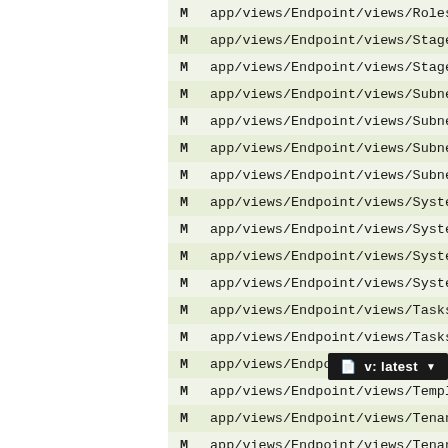List of file paths prefixed with M (modified), including app/views/Endpoint/views/Stages/Edit, app/views/Endpoint/views/Stages/View, app/views/Endpoint/views/Subnets/Edi, app/views/Endpoint/views/Subnets/Vie, app/views/Endpoint/views/Subnets/col, app/views/Endpoint/views/Subnets/com, app/views/Endpoint/views/System/Diag, app/views/Endpoint/views/System/Pref, app/views/Endpoint/views/System/View, app/views/Endpoint/views/System/comp, app/views/Endpoint/views/Tasks/Edito, app/views/Endpoint/views/Tasks/View., app/views/Endpoint/views/Templates/V, app/views/Endpoint/views/Templates/c, app/views/Endpoint/views/Tenants/Edi, app/views/Endpoint/views/Tenants/Vie, app/views/Endpoint/views/Tenants/col, app/views/Endpoint/views/Tenants/col, app/views/Endpoint/views/UXConfig/Vi, app/views/Endpoint/views/UXConfig/co, app/views/Endpoint/views/UXConfig/co, app/views/Endpoint/views/UXViews/Edi, app/views/Endpoint/views/UXViews/Vie, app/views/Endpoint/views/UXViews/col, app/views/Endpoint/views/UXViews/col, app/views/Endpoint/views/Users/Edito, app/views/Endpoint/views/Users/View